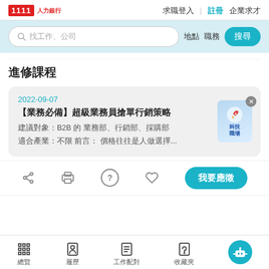1111人力銀行 求職登入 | 註冊 企業求才
[Figure (screenshot): Search bar with placeholder 找工作、公司, along with 地點, 職務 labels and 搜尋 button]
進修課程
2022-09-07
【業務必備】超級業務員搶單行銷策略
建議對象：B2B 的 業務部、行銷部、採購部
適合產業：不限 前言： 價格往往是人做選擇...
[Figure (illustration): 科技職場 badge with rocket icon]
我要應徵
總覽 履歷 工作配對 收藏夾